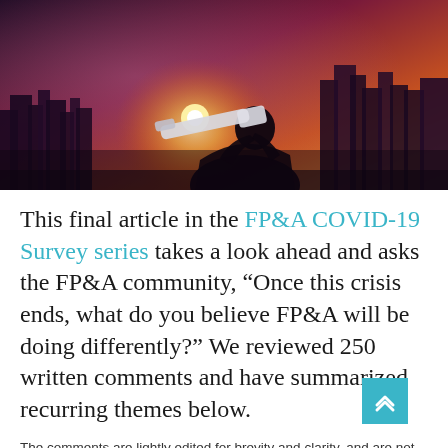[Figure (photo): Person looking through a telescope/spyglass against a city skyline at sunset with warm orange and pink hues]
This final article in the FP&A COVID-19 Survey series takes a look ahead and asks the FP&A community, “Once this crisis ends, what do you believe FP&A will be doing differently?” We reviewed 250 written comments and have summarized recurring themes below.
The comments are lightly edited for brevity and clarity, and are not rank-ordered. Feel free to use